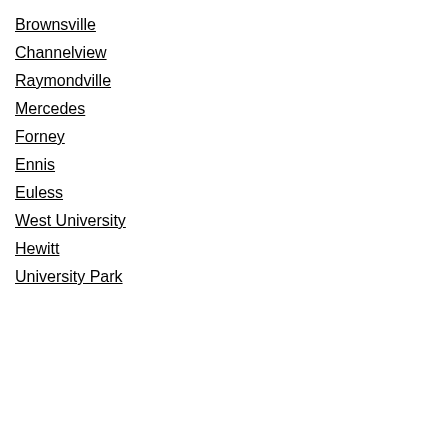Brownsville
Channelview
Raymondville
Mercedes
Forney
Ennis
Euless
West University
Hewitt
University Park